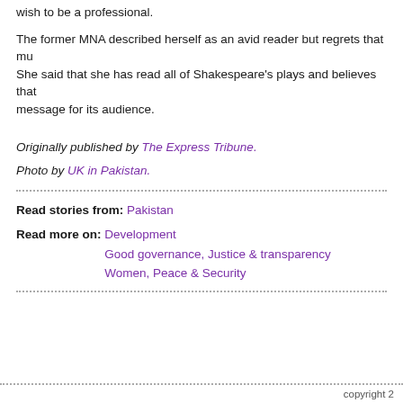wish to be a professional.
The former MNA described herself as an avid reader but regrets that mu... She said that she has read all of Shakespeare's plays and believes that... message for its audience.
Originally published by The Express Tribune.
Photo by UK in Pakistan.
Read stories from: Pakistan
Read more on: Development
Good governance, Justice & transparency
Women, Peace & Security
copyright 2